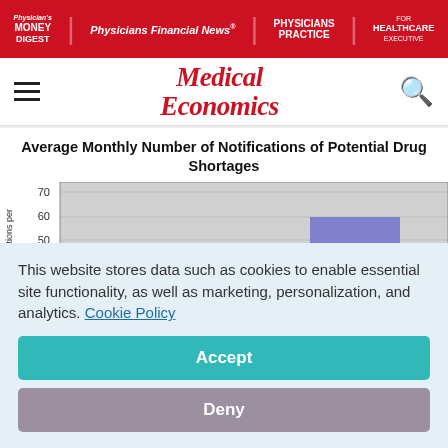Physician's Money Digest | Physicians Financial News | Physicians Practice | Healthcare Executive
[Figure (logo): Medical Economics logo with hamburger menu and search icon]
Average Monthly Number of Notifications of Potential Drug Shortages
[Figure (bar-chart): Partially visible bar chart showing average monthly number of notifications of potential drug shortages. Y-axis shows values from 40 to 70. A purple/blue bar is visible at approximately 60.]
This website stores data such as cookies to enable essential site functionality, as well as marketing, personalization, and analytics. Cookie Policy
Accept
Deny